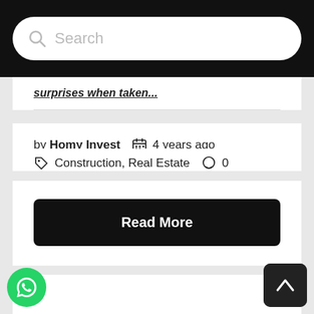Search
surprises when taken...
by Homy Invest  4 years ago
Construction, Real Estate  0
Read More
[Figure (other): WhatsApp floating button (green circle with phone icon)]
[Figure (other): Scroll-to-top button (dark square with up chevron)]